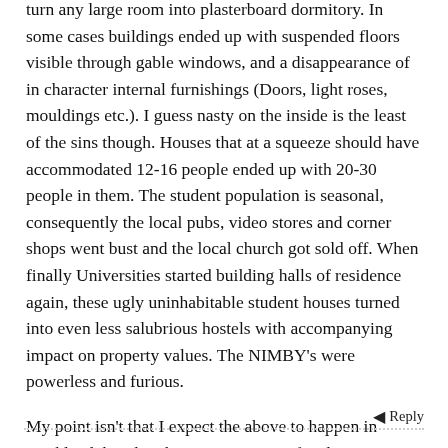turn any large room into plasterboard dormitory. In some cases buildings ended up with suspended floors visible through gable windows, and a disappearance of in character internal furnishings (Doors, light roses, mouldings etc.). I guess nasty on the inside is the least of the sins though. Houses that at a squeeze should have accommodated 12-16 people ended up with 20-30 people in them. The student population is seasonal, consequently the local pubs, video stores and corner shops went bust and the local church got sold off. When finally Universities started building halls of residence again, these ugly uninhabitable student houses turned into even less salubrious hostels with accompanying impact on property values. The NIMBY's were powerless and furious.
My point isn't that I expect the above to happen in Auckland, but that the consequences of a planning vacuum are unpredictable, unpleasant and have an effect on everyone.
Nawthshaw • Since Nov 2006 • 790 posts
Reply